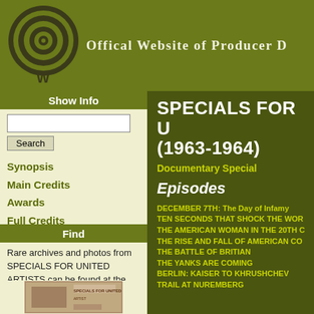Offical Website of Producer D
[Figure (logo): Circular target/spiral logo with W at bottom, dark olive color]
Show Info
Search
Synopsis
Main Credits
Awards
Full Credits
All Wolper Shows
Find
Rare archives and photos from SPECIALS FOR UNITED ARTISTS can be found at the David L. Wolper Center at USC
SPECIALS FOR U (1963-1964)
Documentary Special
Episodes
DECEMBER 7TH: The Day of Infamy
TEN SECONDS THAT SHOCK THE WOR
THE AMERICAN WOMAN IN THE 20TH C
THE RISE AND FALL OF AMERICAN CO
THE BATTLE OF BRITIAN
THE YANKS ARE COMING
BERLIN: KAISER TO KHRUSHCHEV
TRAIL AT NUREMBERG